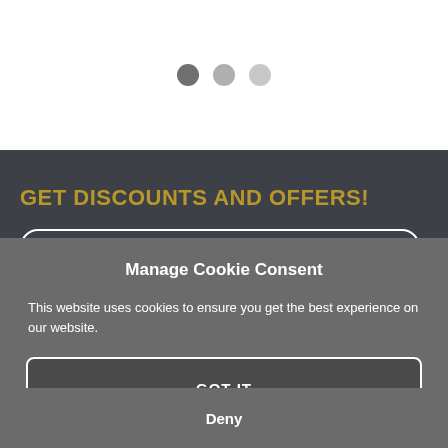[Figure (other): Three horizontal dots / pagination indicators on white background]
GET DISCOUNTS AND OFFERS!
Manage Cookie Consent
This website uses cookies to ensure you get the best experience on our website.
GOT IT
Deny